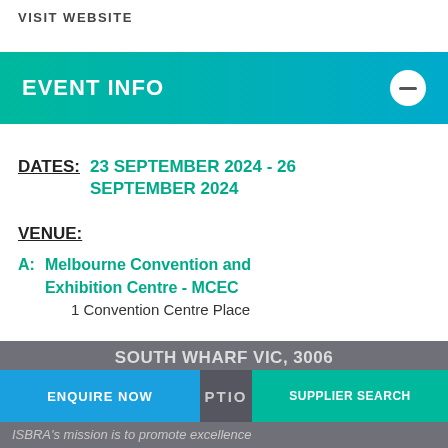VISIT WEBSITE
EVENT INFO
DATES: 23 SEPTEMBER 2024 - 26 SEPTEMBER 2024
VENUE:
A: Melbourne Convention and Exhibition Centre - MCEC
1 Convention Centre Place
SOUTH WHARF VIC, 3006
ENQUIRE NOW  |  PTIO  |  SUPPLIER SEARCH
ISBRA's mission is to promote excellence